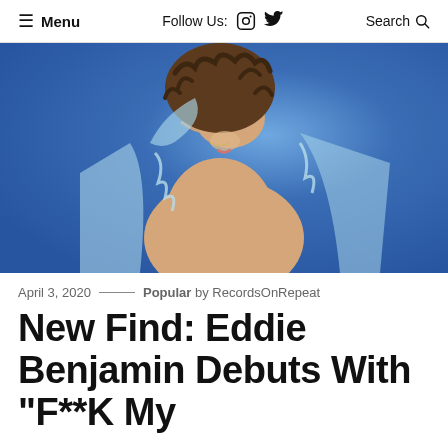≡ Menu   Follow Us: [instagram] [twitter]   Search 🔍
[Figure (photo): Young person with curly brown hair wearing a sheer light blue robe/top, holding one hand up near their face, against a blue background.]
April 3, 2020 —— Popular by RecordsOnRepeat
New Find: Eddie Benjamin Debuts With "F**K My